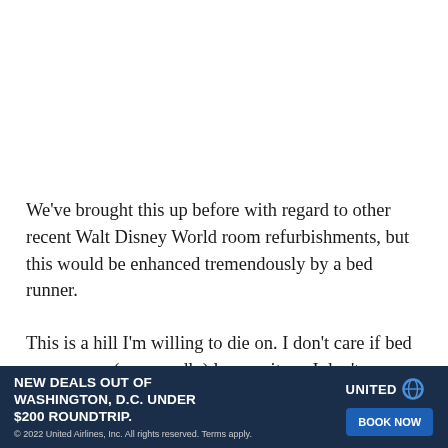We've brought this up before with regard to other recent Walt Disney World room refurbishments, but this would be enhanced tremendously by a bed runner.
This is a hill I'm willing to die on. I don't care if bed runners are (supposedly) less sanitary. I don't care that they are only on the bed for 30 seconds before prompting being thrown into the corner. First impressions are important, and a tropical reef with some colorful tropical fish, d... ...tyl Gifts h...
[Figure (other): United Airlines advertisement banner: 'NEW DEALS OUT OF WASHINGTON, D.C. UNDER $200 ROUNDTRIP.' with BOOK NOW button and United logo.]